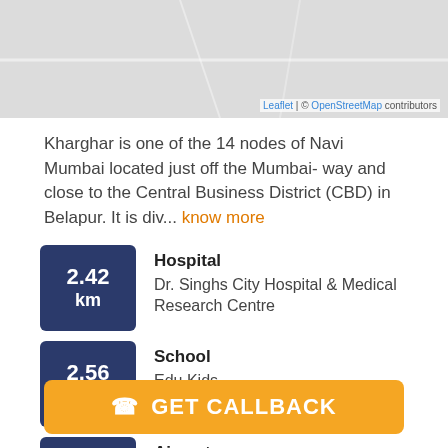[Figure (map): OpenStreetMap tile showing Kharghar area, Navi Mumbai. Attribution: Leaflet | © OpenStreetMap contributors]
Kharghar is one of the 14 nodes of Navi Mumbai located just off the Mumbai- way and close to the Central Business District (CBD) in Belapur. It is div... know more
2.42 km — Hospital — Dr. Singhs City Hospital & Medical Research Centre
2.56 km — School — Edu Kids
2.63 km — Airport — 410210
GET CALLBACK